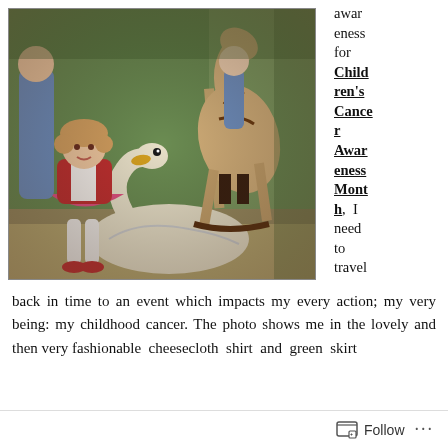[Figure (photo): Vintage photograph of a young girl in a red cardigan, white cheesecloth shirt and pink skirt, sitting on a white swan ride-on toy outdoors. A rocking horse and other children are visible in the background amid green foliage.]
awareness for Children's Cancer Awareness Month, I need to travel back in time to an event which impacts my every action; my very being: my childhood cancer. The photo shows me in the lovely and then very fashionable cheesecloth shirt and green skirt
[Figure (other): Follow button bar at bottom of page with follow icon and ellipsis menu]